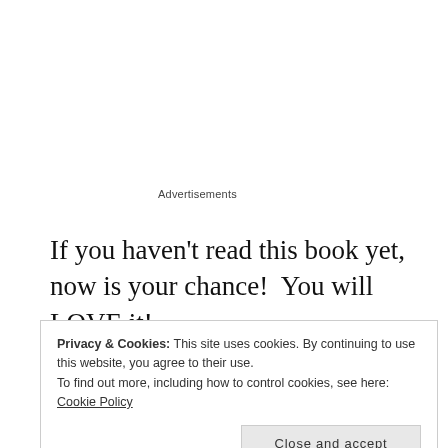Advertisements
If you haven't read this book yet, now is your chance!  You will LOVE it!
How do you get in on the drawing for this book?  Easy.  Just leave a comment on this post or on my facebook page or shoot me an email and let me know you want in on this exciting opportunity.*  I'm not gonna make you
Privacy & Cookies: This site uses cookies. By continuing to use this website, you agree to their use.
To find out more, including how to control cookies, see here: Cookie Policy
Close and accept
2012 at which time I'll draw the name of one lucky